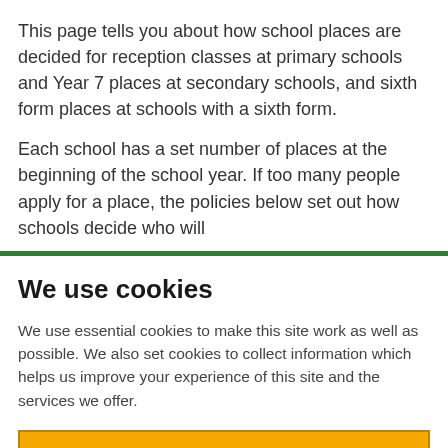This page tells you about how school places are decided for reception classes at primary schools and Year 7 places at secondary schools, and sixth form places at schools with a sixth form.
Each school has a set number of places at the beginning of the school year. If too many people apply for a place, the policies below set out how schools decide who will
We use cookies
We use essential cookies to make this site work as well as possible. We also set cookies to collect information which helps us improve your experience of this site and the services we offer.
Allow cookies and close
Cookie settings